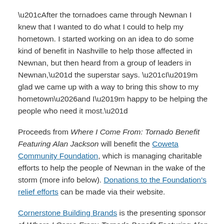“After the tornadoes came through Newnan I knew that I wanted to do what I could to help my hometown. I started working on an idea to do some kind of benefit in Nashville to help those affected in Newnan, but then heard from a group of leaders in Newnan,” the superstar says. “I’m glad we came up with a way to bring this show to my hometown…and I’m happy to be helping the people who need it most.”
Proceeds from Where I Come From: Tornado Benefit Featuring Alan Jackson will benefit the Coweta Community Foundation, which is managing charitable efforts to help the people of Newnan in the wake of the storm (more info below). Donations to the Foundation’s relief efforts can be made via their website.
Cornerstone Building Brands is the presenting sponsor of Where I Come From: Tornado Benefit Featuring Alan Jackson. The event is driven by Southtowne Chevrolet. Additional details – such as special guests – for the concert will be forthcoming.
Alan Jackson’s touring history has taken him all over the U.S. and around the world. His concert performances have been seen by millions, andeferencing top stars, Australia, Normanno, Brazil...